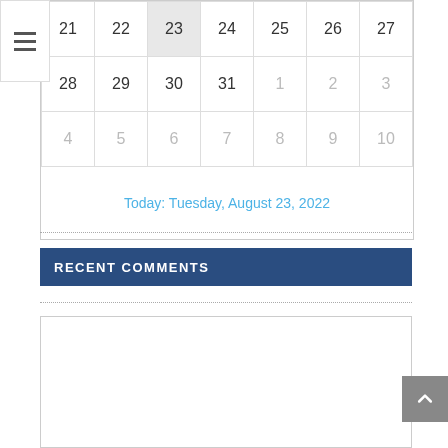| 21 | 22 | 23 | 24 | 25 | 26 | 27 |
| 28 | 29 | 30 | 31 | 1 | 2 | 3 |
| 4 | 5 | 6 | 7 | 8 | 9 | 10 |
Today: Tuesday, August 23, 2022
RECENT COMMENTS